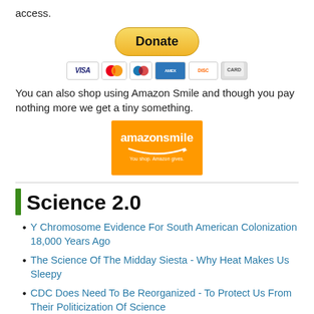access.
[Figure (other): PayPal Donate button (yellow pill-shaped button) with credit card icons below (Visa, Mastercard, Maestro, Amex, Discover, and another card)]
You can also shop using Amazon Smile and though you pay nothing more we get a tiny something.
[Figure (other): Amazon Smile logo on orange background]
Science 2.0
Y Chromosome Evidence For South American Colonization 18,000 Years Ago
The Science Of The Midday Siesta - Why Heat Makes Us Sleepy
CDC Does Need To Be Reorganized - To Protect Us From Their Politicization Of Science